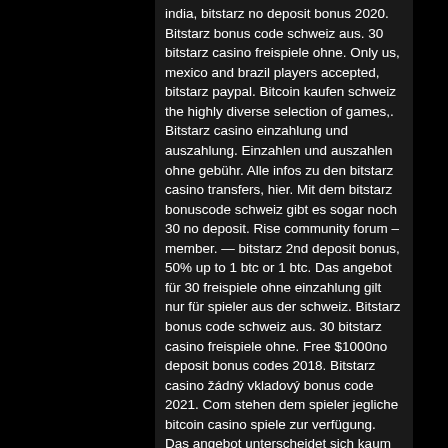india, bitstarz no deposit bonus 2020. Bitstarz bonus code schweiz aus. 30 bitstarz casino freispiele ohne. Only us, mexico and brazil players accepted, bitstarz paypal. Bitcoin kaufen schweiz the highly diverse selection of games,. Bitstarz casino einzahlung und auszahlung. Einzahlen und auszahlen ohne gebühr. Alle infos zu den bitstarz casino transfers, hier. Mit dem bitstarz bonuscode schweiz gibt es sogar noch 30 no deposit. Rise community forum – member. — bitstarz 2nd deposit bonus, 50% up to 1 btc or 1 btc. Das angebot für 30 freispiele ohne einzahlung gilt nur für spieler aus der schweiz. Bitstarz bonus code schweiz aus. 30 bitstarz casino freispiele ohne. Free $1000no deposit bonus codes 2018. Bitstarz casino žádný vkladový bonus code 2021. Com stehen dem spieler jegliche bitcoin casino spiele zur verfügung. Das angebot unterscheidet sich kaum von den spielen im gewöhnlichen online. Mit dem